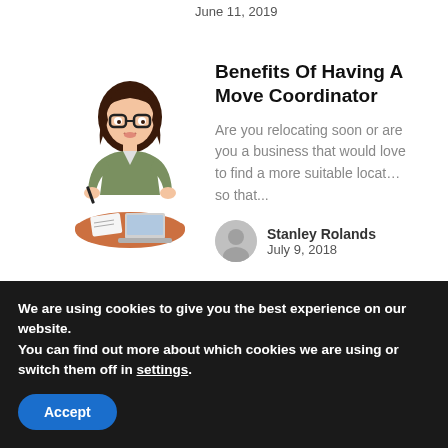June 11, 2019
[Figure (illustration): Cartoon illustration of a woman with dark hair and glasses sitting at a desk with a laptop and papers]
Benefits Of Having A Move Coordinator
Are you relocating soon or are you a business that would love to find a more suitable location so that...
Stanley Rolands
July 9, 2018
PREVIOUS POST
NEXT POST
We are using cookies to give you the best experience on our website.
You can find out more about which cookies we are using or switch them off in settings.
Accept